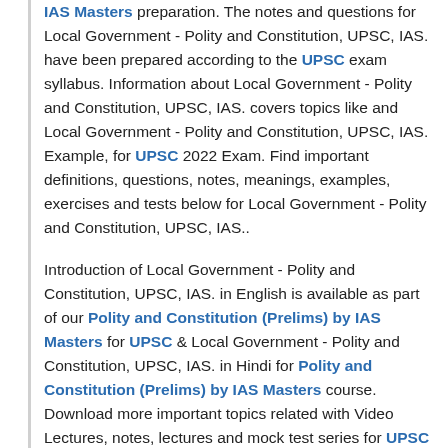IAS Masters preparation. The notes and questions for Local Government - Polity and Constitution, UPSC, IAS. have been prepared according to the UPSC exam syllabus. Information about Local Government - Polity and Constitution, UPSC, IAS. covers topics like and Local Government - Polity and Constitution, UPSC, IAS. Example, for UPSC 2022 Exam. Find important definitions, questions, notes, meanings, examples, exercises and tests below for Local Government - Polity and Constitution, UPSC, IAS..
Introduction of Local Government - Polity and Constitution, UPSC, IAS. in English is available as part of our Polity and Constitution (Prelims) by IAS Masters for UPSC & Local Government - Polity and Constitution, UPSC, IAS. in Hindi for Polity and Constitution (Prelims) by IAS Masters course. Download more important topics related with Video Lectures, notes, lectures and mock test series for UPSC